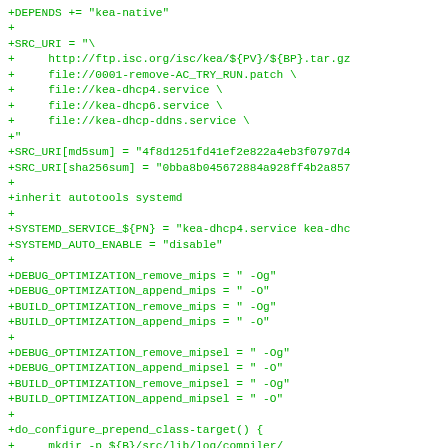+DEPENDS += "kea-native"
+
+SRC_URI = "\
+     http://ftp.isc.org/isc/kea/${PV}/${BP}.tar.gz
+     file://0001-remove-AC_TRY_RUN.patch \
+     file://kea-dhcp4.service \
+     file://kea-dhcp6.service \
+     file://kea-dhcp-ddns.service \
+"
+SRC_URI[md5sum] = "4f8d1251fd41ef2e822a4eb3f0797d4
+SRC_URI[sha256sum] = "0bba8b045672884a928ff4b2a857
+
+inherit autotools systemd
+
+SYSTEMD_SERVICE_${PN} = "kea-dhcp4.service kea-dhc
+SYSTEMD_AUTO_ENABLE = "disable"
+
+DEBUG_OPTIMIZATION_remove_mips = " -Og"
+DEBUG_OPTIMIZATION_append_mips = " -O"
+BUILD_OPTIMIZATION_remove_mips = " -Og"
+BUILD_OPTIMIZATION_append_mips = " -O"
+
+DEBUG_OPTIMIZATION_remove_mipsel = " -Og"
+DEBUG_OPTIMIZATION_append_mipsel = " -O"
+BUILD_OPTIMIZATION_remove_mipsel = " -Og"
+BUILD_OPTIMIZATION_append_mipsel = " -O"
+
+do_configure_prepend_class-target() {
+     mkdir -p ${B}/src/lib/log/compiler/
+     ln -sf ${STAGING_BINDIR_NATIVE}/kea-msg-compil